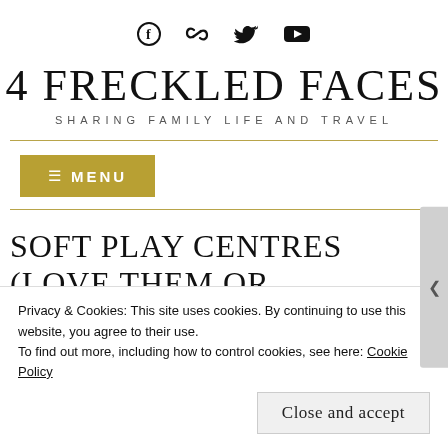Social icons: Facebook, Link, Twitter, YouTube
4 FRECKLED FACES
SHARING FAMILY LIFE AND TRAVEL
≡ MENU
SOFT PLAY CENTRES (LOVE THEM OR
Privacy & Cookies: This site uses cookies. By continuing to use this website, you agree to their use.
To find out more, including how to control cookies, see here: Cookie Policy
Close and accept